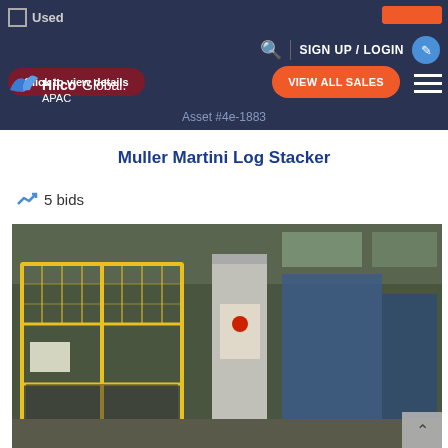Used | SIGN UP / LOGIN
Click to view details
[Figure (logo): Hilco Global APAC logo with wing icon]
VIEW ALL SALES
Asset #4e-1883
Muller Martini Log Stacker
5 bids
[Figure (photo): Industrial log stacker machine with yellow safety cage/guard structure in a factory/warehouse setting with blue machinery behind]